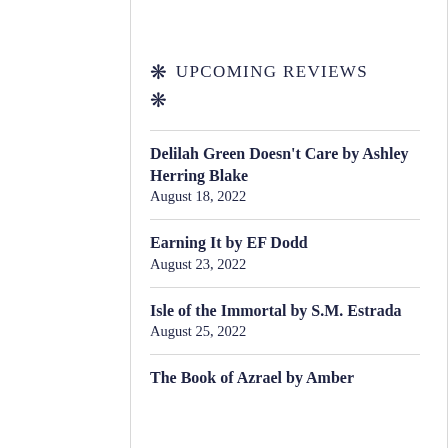❋ UPCOMING REVIEWS
❋
Delilah Green Doesn't Care by Ashley Herring Blake
August 18, 2022
Earning It by EF Dodd
August 23, 2022
Isle of the Immortal by S.M. Estrada
August 25, 2022
The Book of Azrael by Amber